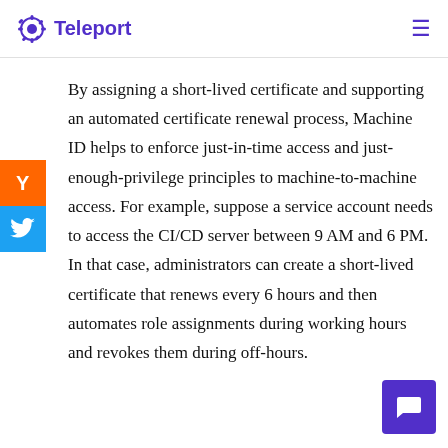Teleport
By assigning a short-lived certificate and supporting an automated certificate renewal process, Machine ID helps to enforce just-in-time access and just-enough-privilege principles to machine-to-machine access. For example, suppose a service account needs to access the CI/CD server between 9 AM and 6 PM. In that case, administrators can create a short-lived certificate that renews every 6 hours and then automates role assignments during working hours and revokes them during off-hours.